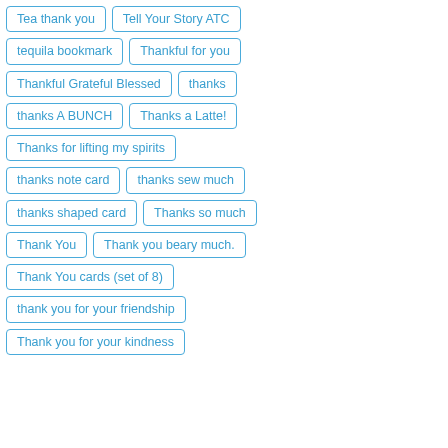Tea thank you
Tell Your Story ATC
tequila bookmark
Thankful for you
Thankful Grateful Blessed
thanks
thanks A BUNCH
Thanks a Latte!
Thanks for lifting my spirits
thanks note card
thanks sew much
thanks shaped card
Thanks so much
Thank You
Thank you beary much.
Thank You cards (set of 8)
thank you for your friendship
Thank you for your kindness